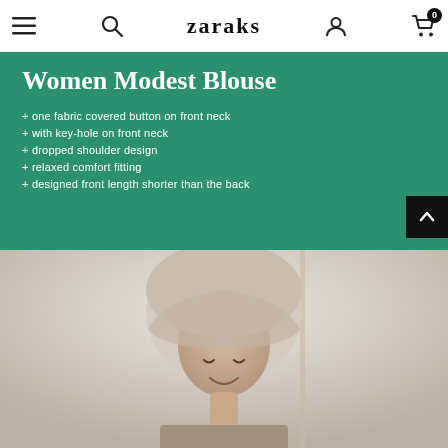zaraks — navigation bar with menu, search, account, cart (0)
Women Modest Blouse
+ one fabric covered button on front neck
+ with key-hole on front neck
+ dropped shoulder design
+ relaxed comfort fitting
+ designed front length shorter than the back
[Figure (photo): Woman wearing a beige hijab smiling, looking down, in a light-toned interior setting]